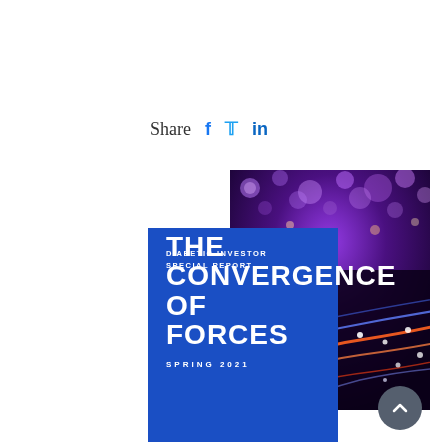Share  f  🐦  in
[Figure (illustration): Cover image of 'The Convergence of Forces' Spring 2021 Special Report by Diabetic Investor, showing abstract light trails in purple and orange on dark background, with a blue panel overlay containing the report title text.]